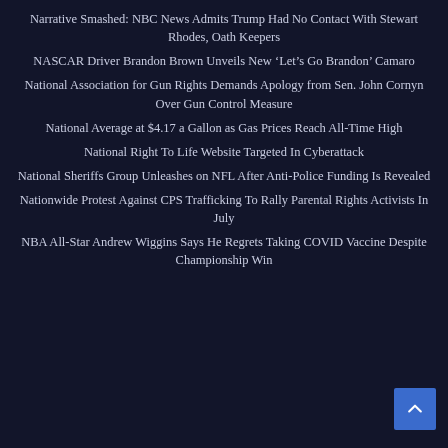Narrative Smashed: NBC News Admits Trump Had No Contact With Stewart Rhodes, Oath Keepers
NASCAR Driver Brandon Brown Unveils New ‘Let’s Go Brandon’ Camaro
National Association for Gun Rights Demands Apology from Sen. John Cornyn Over Gun Control Measure
National Average at $4.17 a Gallon as Gas Prices Reach All-Time High
National Right To Life Website Targeted In Cyberattack
National Sheriffs Group Unleashes on NFL After Anti-Police Funding Is Revealed
Nationwide Protest Against CPS Trafficking To Rally Parental Rights Activists In July
NBA All-Star Andrew Wiggins Says He Regrets Taking COVID Vaccine Despite Championship Win